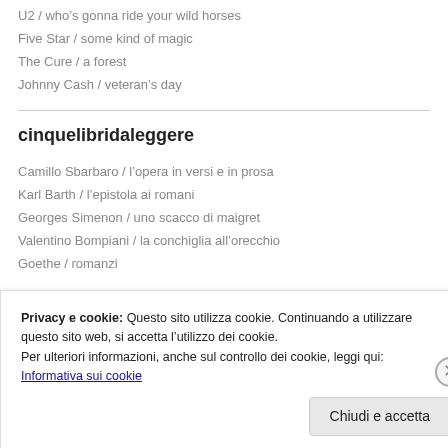U2 / who's gonna ride your wild horses
Five Star / some kind of magic
The Cure / a forest
Johnny Cash / veteran's day
cinquelibridaleggere
Camillo Sbarbaro / l'opera in versi e in prosa
Karl Barth / l'epistola ai romani
Georges Simenon / uno scacco di maigret
Valentino Bompiani / la conchiglia all'orecchio
Goethe / romanzi
Privacy e cookie: Questo sito utilizza cookie. Continuando a utilizzare questo sito web, si accetta l'utilizzo dei cookie.
Per ulteriori informazioni, anche sul controllo dei cookie, leggi qui:
Informativa sui cookie
Chiudi e accetta